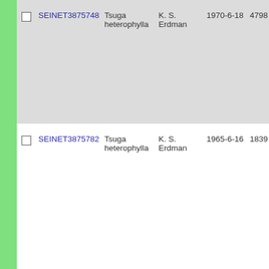| ID | Species | Collector | Date | Number |
| --- | --- | --- | --- | --- |
| SEINET3875748 | Tsuga heterophylla | K. S. Erdman | 1970-6-18 | 4798 |
| SEINET3875782 | Tsuga heterophylla | K. S. Erdman | 1965-6-16 | 1839 |
| SJSU133 | Tsuga heterophylla | Emily D. Smith | 1934-8-21 |  |